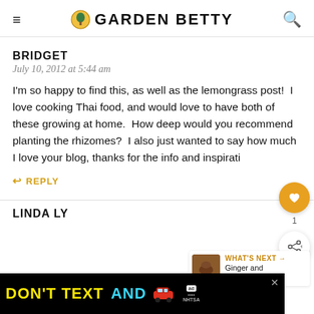GARDEN BETTY
BRIDGET
July 10, 2012 at 5:44 am
I'm so happy to find this, as well as the lemongrass post! I love cooking Thai food, and would love to have both of these growing at home. How deep would you recommend planting the rhizomes? I also just wanted to say how much I love your blog, thanks for the info and inspiration!
REPLY
WHAT'S NEXT → Ginger and Galangal......
LINDA LY
[Figure (screenshot): DON'T TEXT AND [car emoji] advertisement banner for NHTSA with ad icon and close button]